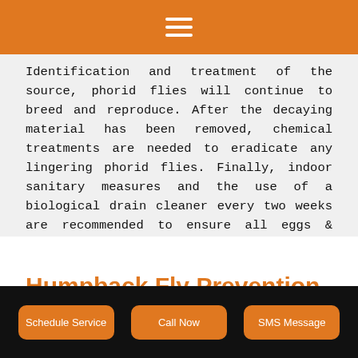≡
Identification and treatment of the source, phorid flies will continue to breed and reproduce. After the decaying material has been removed, chemical treatments are needed to eradicate any lingering phorid flies. Finally, indoor sanitary measures and the use of a biological drain cleaner every two weeks are recommended to ensure all eggs & larvae are treated.
Humpback Fly Prevention Solutions
Maintaining a regular, consistent cleaning schedule should be recommended to avoid phorid flies from ever gaining a period
Schedule Service | Call Now | SMS Message